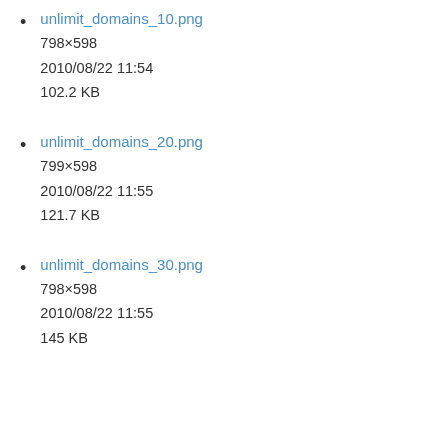unlimit_domains_10.png
798×598
2010/08/22 11:54
102.2 KB
unlimit_domains_20.png
799×598
2010/08/22 11:55
121.7 KB
unlimit_domains_30.png
798×598
2010/08/22 11:55
145 KB